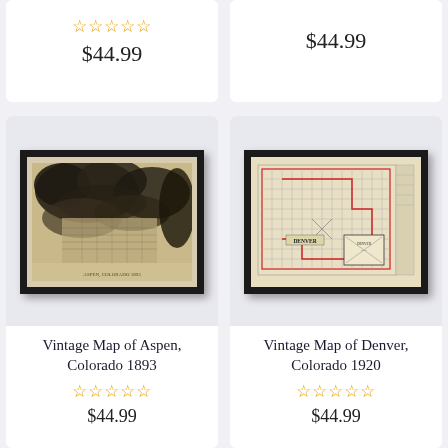☆☆☆☆☆
$44.99
$44.99
[Figure (photo): Framed vintage bird's-eye-view map of Aspen, Colorado 1893, sepia/dark tones]
Vintage Map of Aspen, Colorado 1893
☆☆☆☆☆
$44.99
[Figure (photo): Framed vintage map of Denver, Colorado 1920, showing city grid with inset, light beige tones]
Vintage Map of Denver, Colorado 1920
☆☆☆☆☆
$44.99